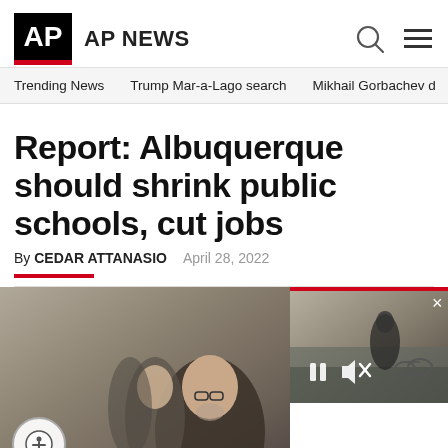AP AP NEWS
Trending News   Trump Mar-a-Lago search   Mikhail Gorbachev d
Report: Albuquerque should shrink public schools, cut jobs
By CEDAR ATTANASIO   April 28, 2022
[Figure (photo): AP News article page screenshot showing headline about Albuquerque schools with a photo of a man speaking and a video thumbnail overlay]
[Figure (photo): Video thumbnail showing outdoor scene with person, with play/pause and mute controls visible and a close button]